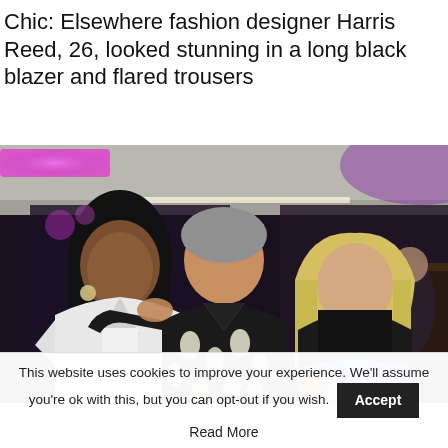Chic: Elsewhere fashion designer Harris Reed, 26, looked stunning in a long black blazer and flared trousers
[Figure (photo): Three people posing together indoors at what appears to be a bar or nightclub venue. A woman in white on the left with long dark hair, a man in a floral shirt in the center with grey hair, and a blonde woman in a black crop top on the right.]
This website uses cookies to improve your experience. We'll assume you're ok with this, but you can opt-out if you wish. Accept Read More